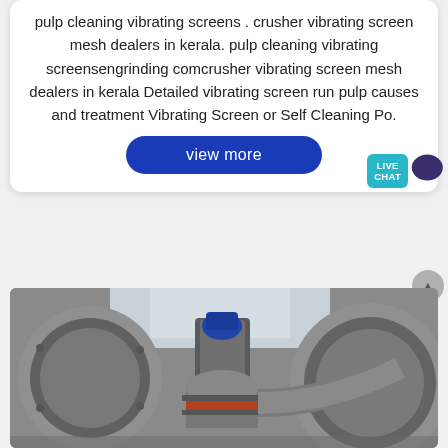pulp cleaning vibrating screens . crusher vibrating screen mesh dealers in kerala. pulp cleaning vibrating screensengrinding comcrusher vibrating screen mesh dealers in kerala Detailed vibrating screen run pulp causes and treatment Vibrating Screen or Self Cleaning Po.
view more
[Figure (photo): Industrial machinery photograph showing large metallic cylindrical components, pipes and ducts in a factory or processing plant setting. Silver/grey metal surfaces with a red-banded cylindrical element in the center foreground.]